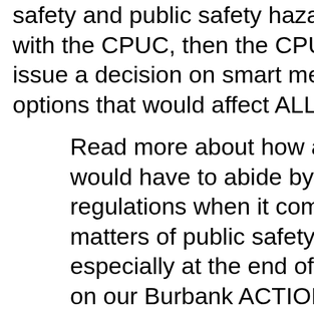safety and public safety hazard issue with the CPUC, then the CPUC can issue a decision on smart meter options that would affect ALL utilities.
Read more about how all utilities would have to abide by CPUC regulations when it comes to matters of public safety, especially at the end of this article on our Burbank ACTION blog, "Burbank resident informs California PUC Judge on how BWP Smart Meters are making her sick," posted August 29, 2011:
http://burbankaction.wordpre burbank-resident-made-